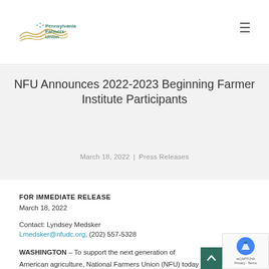Pennsylvania Farmers Union
NFU Announces 2022-2023 Beginning Farmer Institute Participants
March 18, 2022 | Press Releases
FOR IMMEDIATE RELEASE
March 18, 2022
Contact: Lyndsey Medsker
Lmedsker@nfudc.org, (202) 557-5328
WASHINGTON – To support the next generation of American agriculture, National Farmers Union (NFU) today